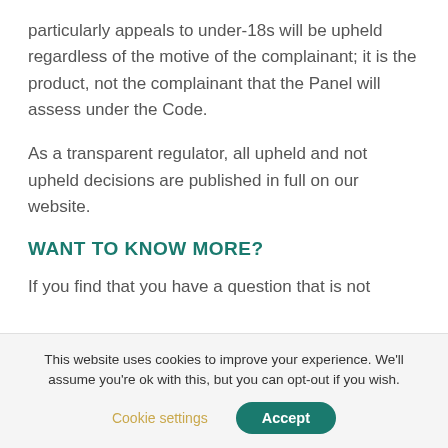particularly appeals to under-18s will be upheld regardless of the motive of the complainant; it is the product, not the complainant that the Panel will assess under the Code.
As a transparent regulator, all upheld and not upheld decisions are published in full on our website.
WANT TO KNOW MORE?
If you find that you have a question that is not
This website uses cookies to improve your experience. We'll assume you're ok with this, but you can opt-out if you wish.
Cookie settings
Accept